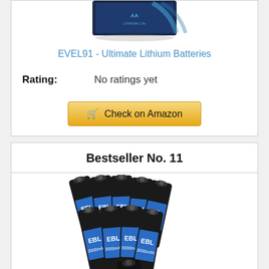[Figure (photo): Top portion of a product image showing Energizer Ultimate Lithium battery packaging, partially cropped at top]
EVEL91 - Ultimate Lithium Batteries
Rating: No ratings yet
Check on Amazon
Bestseller No. 11
[Figure (photo): Group of EBL 3000mAh rechargeable AA batteries, black with blue EBL logo label, bundled together in a stack]